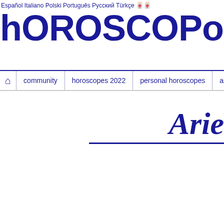Español Italiano Polski Português Русский Türkçe 日本語
hOROSCOPofree.com
🏠 community | horoscopes 2022 | personal horoscopes | astrology
Aries
Cookies help us deliver our services. By using our services, you agree to our use of cookies.
OK
Learn more